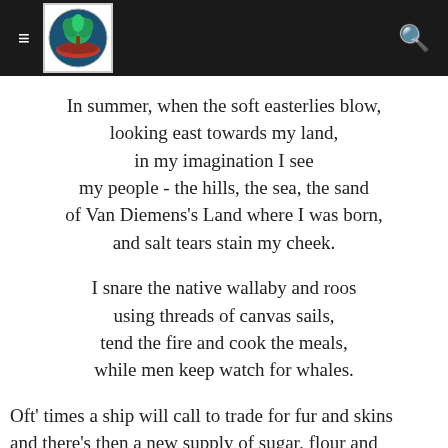≡ [logo] 🔍
In summer, when the soft easterlies blow,
looking east towards my land,
in my imagination I see
my people - the hills, the sea, the sand
of Van Diemens's Land where I was born,
and salt tears stain my cheek.
I snare the native wallaby and roos
using threads of canvas sails,
tend the fire and cook the meals,
while men keep watch for whales.
Oft' times a ship will call to trade for fur and skins
and there's then a new supply of sugar, flour and